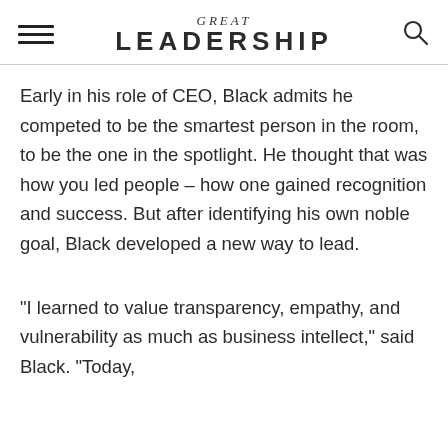GREAT LEADERSHIP
Early in his role of CEO, Black admits he competed to be the smartest person in the room, to be the one in the spotlight. He thought that was how you led people – how one gained recognition and success. But after identifying his own noble goal, Black developed a new way to lead.
“I learned to value transparency, empathy, and vulnerability as much as business intellect,” said Black. “Today,